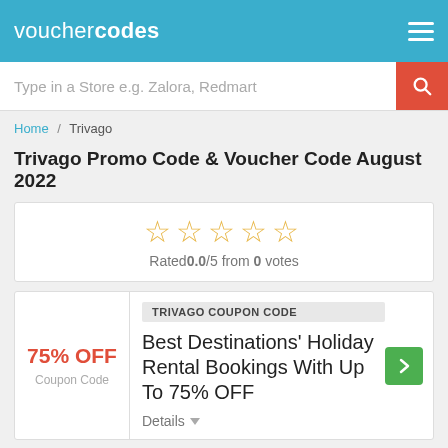vouchercodes
Type in a Store e.g. Zalora, Redmart
Home / Trivago
Trivago Promo Code & Voucher Code August 2022
Rated0.0/5 from 0 votes
TRIVAGO COUPON CODE
75% OFF
Coupon Code
Best Destinations' Holiday Rental Bookings With Up To 75% OFF
Details
TRIVAGO SALE